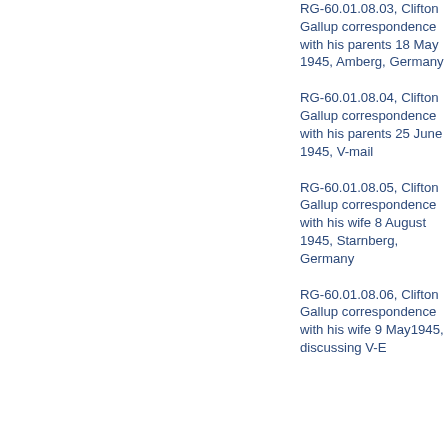RG-60.01.08.03, Clifton Gallup correspondence with his parents 18 May 1945, Amberg, Germany
RG-60.01.08.04, Clifton Gallup correspondence with his parents 25 June 1945, V-mail
RG-60.01.08.05, Clifton Gallup correspondence with his wife 8 August 1945, Starnberg, Germany
RG-60.01.08.06, Clifton Gallup correspondence with his wife 9 May1945, discussing V-E...